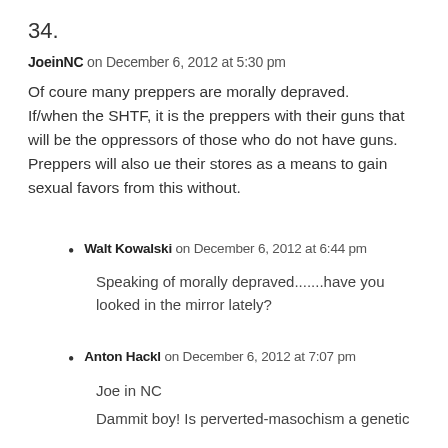34.
JoeinNC on December 6, 2012 at 5:30 pm
Of coure many preppers are morally depraved. If/when the SHTF, it is the preppers with their guns that will be the oppressors of those who do not have guns. Preppers will also ue their stores as a means to gain sexual favors from this without.
Walt Kowalski on December 6, 2012 at 6:44 pm
Speaking of morally depraved.......have you looked in the mirror lately?
Anton Hackl on December 6, 2012 at 7:07 pm
Joe in NC
Dammit boy!  Is perverted-masochism a genetic